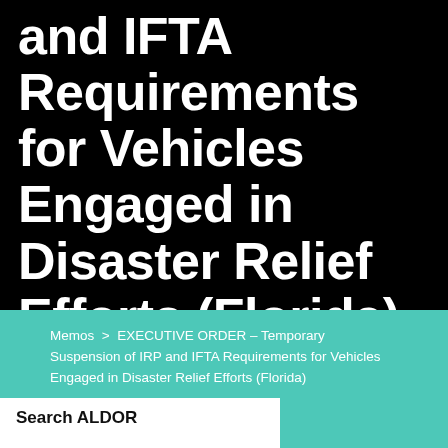and IFTA Requirements for Vehicles Engaged in Disaster Relief Efforts (Florida)
Memos > EXECUTIVE ORDER – Temporary Suspension of IRP and IFTA Requirements for Vehicles Engaged in Disaster Relief Efforts (Florida)
Search ALDOR